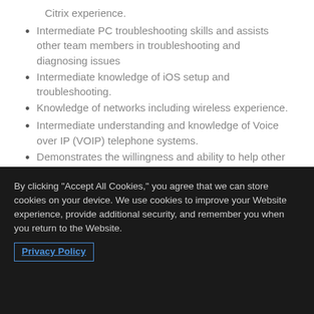Citrix experience.
Intermediate PC troubleshooting skills and assists other team members in troubleshooting and diagnosing issues
Intermediate knowledge of iOS setup and troubleshooting.
Knowledge of networks including wireless experience.
Intermediate understanding and knowledge of Voice over IP (VOIP) telephone systems.
Demonstrates the willingness and ability to help other team members on difficult issues.
By clicking "Accept All Cookies," you agree that we can store cookies on your device. We use cookies to improve your Website experience, provide additional security, and remember you when you return to the Website. Privacy Policy